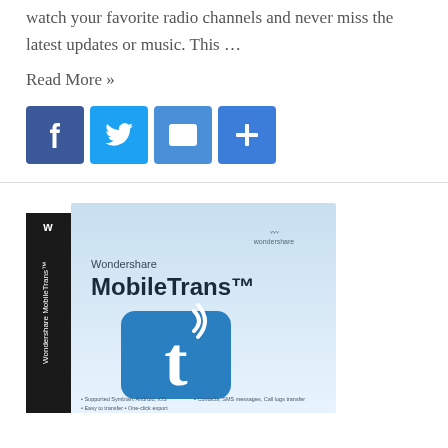watch your favorite radio channels and never miss the latest updates or music. This …
Read More »
[Figure (infographic): Social sharing buttons: Facebook, Twitter, Email, and Share (plus icon), all in blue square buttons with white icons]
[Figure (photo): Wondershare MobileTrans software box art showing the product name and a blue 't' logo icon on a light blue background with black spine on the left]